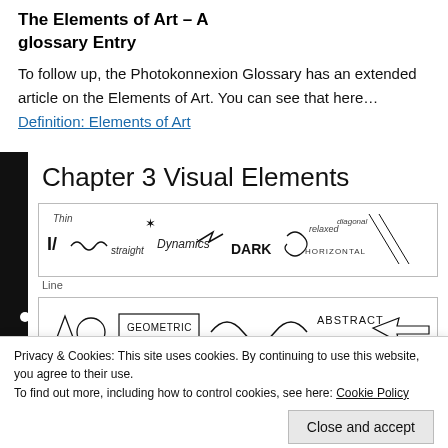The Elements of Art – A
glossary Entry
To follow up, the Photokonnexion Glossary has an extended article on the Elements of Art. You can see that here… Definition: Elements of Art
[Figure (screenshot): A page titled 'Chapter 3 Visual Elements' showing illustrated rows with handwritten-style line types (Thin, straight, Dynamics, DARK, relaxed, HORIZONTAL, diagonal) and shape types (GEOMETRIC, ABSTRACT). A cookie privacy banner overlays the bottom portion with a 'Close and accept' button. At the very bottom is another strip showing more texture words (COARSE, EVEN, etc.).]